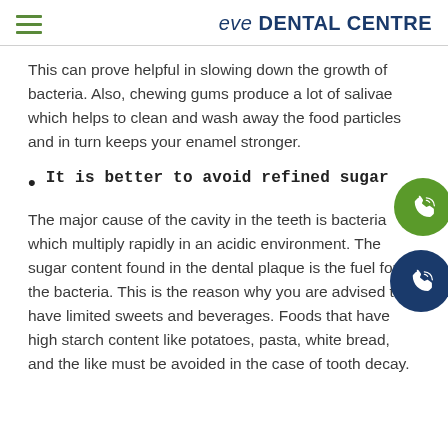eve DENTAL CENTRE
This can prove helpful in slowing down the growth of bacteria. Also, chewing gums produce a lot of salivae which helps to clean and wash away the food particles and in turn keeps your enamel stronger.
It is better to avoid refined sugar
The major cause of the cavity in the teeth is bacteria which multiply rapidly in an acidic environment. The sugar content found in the dental plaque is the fuel for the bacteria. This is the reason why you are advised to have limited sweets and beverages. Foods that have high starch content like potatoes, pasta, white bread, and the like must be avoided in the case of tooth decay.